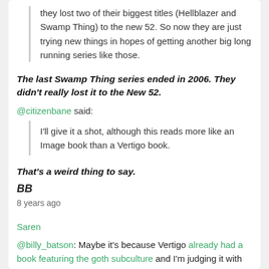they lost two of their biggest titles (Hellblazer and Swamp Thing) to the new 52. So now they are just trying new things in hopes of getting another big long running series like those.
The last Swamp Thing series ended in 2006. They didn't really lost it to the New 52.
@citizenbane said:
I'll give it a shot, although this reads more like an Image book than a Vertigo book.
That's a weird thing to say.
BB
8 years ago
Saren
@billy_batson: Maybe it's because Vertigo already had a book featuring the goth subculture and I'm judging it with that